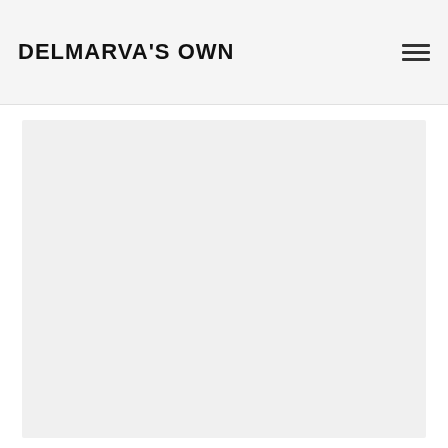DELMARVA'S OWN
[Figure (other): Large light gray rectangular content area placeholder below the navigation header]